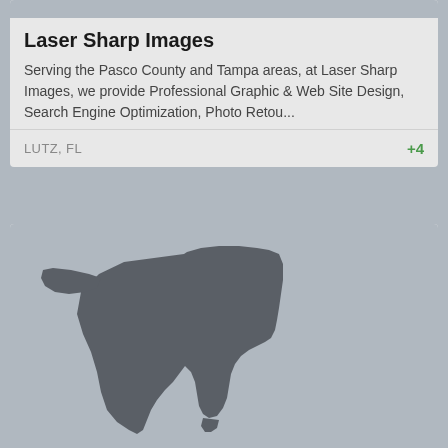[Figure (other): Top image placeholder - gray rectangle]
Laser Sharp Images
Serving the Pasco County and Tampa areas, at Laser Sharp Images, we provide Professional Graphic & Web Site Design, Search Engine Optimization, Photo Retou...
LUTZ, FL
+4
[Figure (map): Map of Florida state silhouette in dark gray on light gray background]